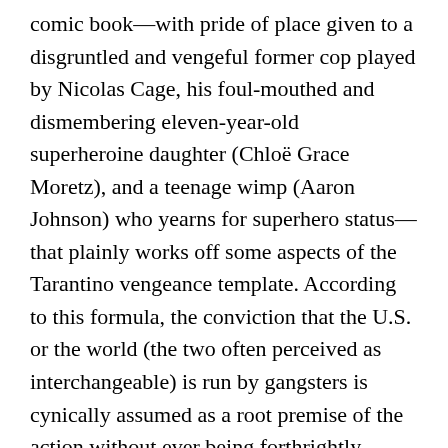comic book—with pride of place given to a disgruntled and vengeful former cop played by Nicolas Cage, his foul-mouthed and dismembering eleven-year-old superheroine daughter (Chloë Grace Moretz), and a teenage wimp (Aaron Johnson) who yearns for superhero status—that plainly works off some aspects of the Tarantino vengeance template. According to this formula, the conviction that the U.S. or the world (the two often perceived as interchangeable) is run by gangsters is cynically assumed as a root premise of the action without ever being forthrightly stated, and indiscriminate brutality is meted out for kicks that are justified only by moral pretexts rather than by moral positions of any kind. By striking contrast, the villains of Micmacs, including a delightful cartoon performance by André Dussollier, are cynical armaments dealers. This time the hero's motivations for retribution, as